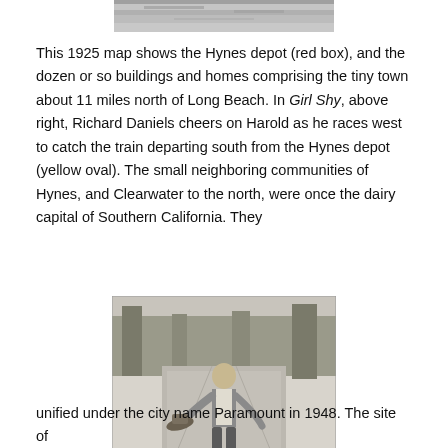[Figure (photo): A partial view of a 1925 map showing the Hynes depot area, cropped at top of page.]
This 1925 map shows the Hynes depot (red box), and the dozen or so buildings and homes comprising the tiny town about 11 miles north of Long Beach. In Girl Shy, above right, Richard Daniels cheers on Harold as he races west to catch the train departing south from the Hynes depot (yellow oval). The small neighboring communities of Hynes, and Clearwater to the north, were once the dairy capital of Southern California. They
[Figure (photo): A black and white photograph of a man (Harold Lloyd character) on a road, leaning forward dynamically, holding a hat, with trees and road visible in the background. Scene from Girl Shy.]
unified under the city name Paramount in 1948. The site of